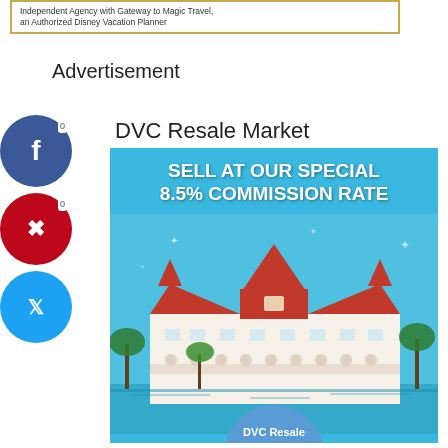[Figure (other): Banner with border and text: Independent Agency with Gateway to Magic Travel, an Authorized Disney Vacation Planner]
Advertisement
[Figure (infographic): Social media share buttons: Facebook (0), Pinterest (0), Twitter]
DVC Resale Market
[Figure (photo): DVC Resale Market advertisement showing Grand Floridian Resort with text: SELL AT OUR SPECIAL 8.5% COMMISSION RATE. DVC Resale logo at bottom.]